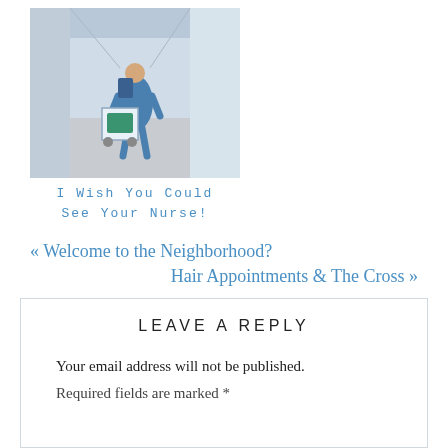[Figure (photo): A healthcare worker in blue scrubs pushing medical equipment down a hospital corridor, viewed from behind.]
I Wish You Could See Your Nurse!
« Welcome to the Neighborhood?
Hair Appointments & The Cross »
LEAVE A REPLY
Your email address will not be published.
Required fields are marked *